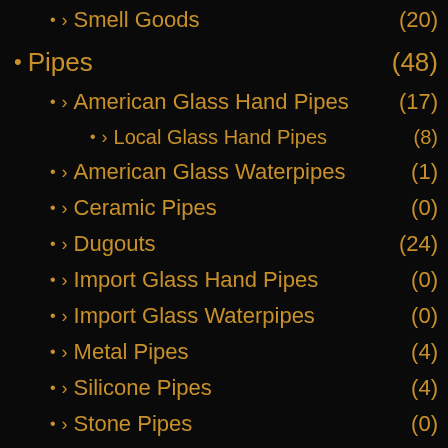> Smell Goods (20)
Pipes (48)
> American Glass Hand Pipes (17)
> Local Glass Hand Pipes (8)
> American Glass Waterpipes (1)
> Ceramic Pipes (0)
> Dugouts (24)
> Import Glass Hand Pipes (0)
> Import Glass Waterpipes (0)
> Metal Pipes (4)
> Silicone Pipes (4)
> Stone Pipes (0)
> Wooden Pipes (0)
Scales (19)
Smoking Accessories (386)
> Ashtrays (1)
> Cigarillos (129)